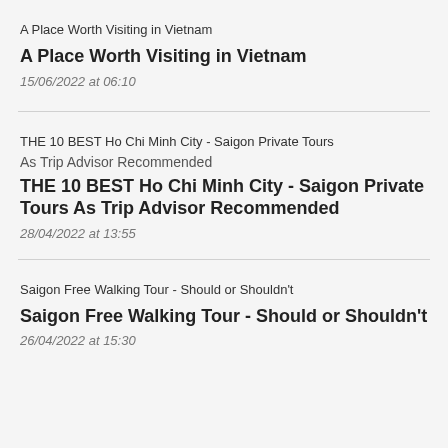[Figure (photo): Thumbnail image placeholder for 'A Place Worth Visiting in Vietnam']
A Place Worth Visiting in Vietnam
15/06/2022 at 06:10
[Figure (photo): Thumbnail image placeholder for 'THE 10 BEST Ho Chi Minh City - Saigon Private Tours As Trip Advisor Recommended']
As Trip Advisor Recommended
THE 10 BEST Ho Chi Minh City - Saigon Private Tours As Trip Advisor Recommended
28/04/2022 at 13:55
[Figure (photo): Thumbnail image placeholder for 'Saigon Free Walking Tour - Should or Shouldn't']
Saigon Free Walking Tour - Should or Shouldn't
26/04/2022 at 15:30